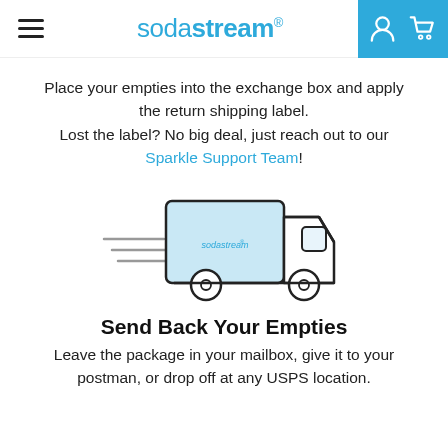sodastream®
Place your empties into the exchange box and apply the return shipping label. Lost the label? No big deal, just reach out to our Sparkle Support Team!
[Figure (illustration): Illustration of a SodaStream delivery truck moving to the right, with speed lines on the left.]
Send Back Your Empties
Leave the package in your mailbox, give it to your postman, or drop off at any USPS location.